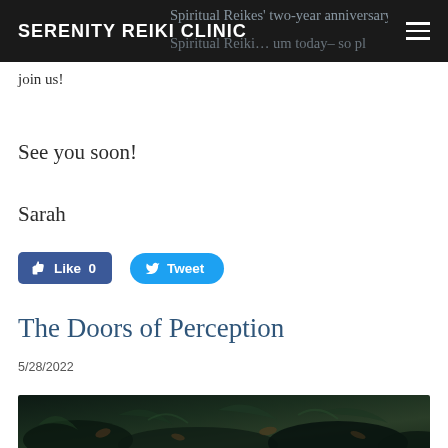SERENITY REIKI CLINIC
join us!
See you soon!
Sarah
[Figure (other): Facebook Like button with count 0 and Twitter Tweet button]
The Doors of Perception
5/28/2022
[Figure (photo): Dark forest floor photo with leaves and plants, partially visible at bottom of page]